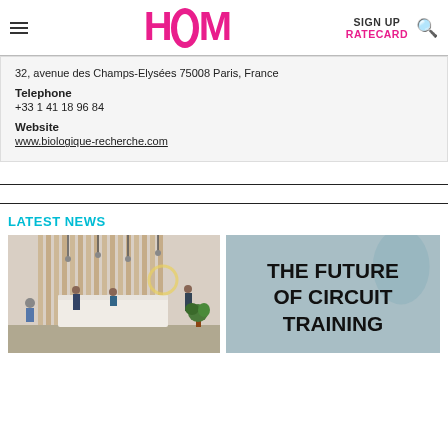HCM — SIGN UP | RATECARD
32, avenue des Champs-Elysées 75008 Paris, France
Telephone
+33 1 41 18 96 84
Website
www.biologique-recherche.com
LATEST NEWS
[Figure (photo): Reception area with people at a white front desk, warm wood panelling, pendant lights, and plants]
[Figure (photo): Blue-grey background with large bold text reading THE FUTURE OF CIRCUIT TRAINING]